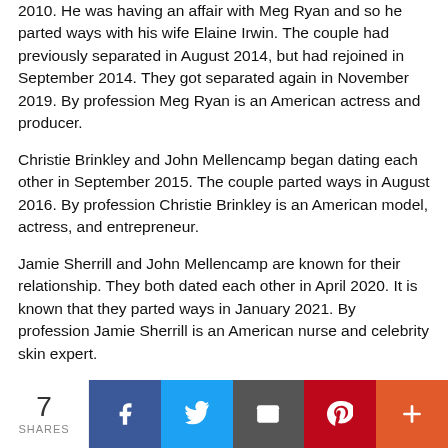2010. He was having an affair with Meg Ryan and so he parted ways with his wife Elaine Irwin. The couple had previously separated in August 2014, but had rejoined in September 2014. They got separated again in November 2019. By profession Meg Ryan is an American actress and producer.
Christie Brinkley and John Mellencamp began dating each other in September 2015. The couple parted ways in August 2016. By profession Christie Brinkley is an American model, actress, and entrepreneur.
Jamie Sherrill and John Mellencamp are known for their relationship. They both dated each other in April 2020. It is known that they parted ways in January 2021. By profession Jamie Sherrill is an American nurse and celebrity skin expert.
Talking about his age, height, Weight & body
[Figure (infographic): Social share bar showing 7 shares with buttons for Facebook, Twitter, Email, Pinterest, and More (+)]